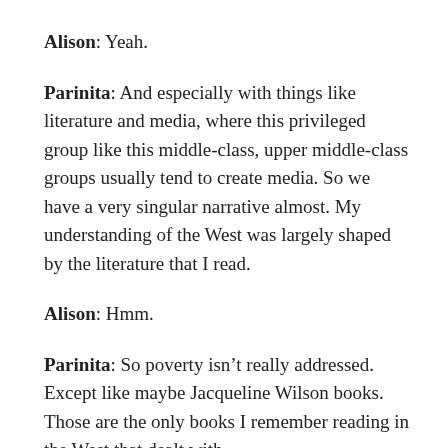Alison: Yeah.
Parinita: And especially with things like literature and media, where this privileged group like this middle-class, upper middle-class groups usually tend to create media. So we have a very singular narrative almost. My understanding of the West was largely shaped by the literature that I read.
Alison: Hmm.
Parinita: So poverty isn't really addressed. Except like maybe Jacqueline Wilson books. Those are the only books I remember reading in the West that dealt with